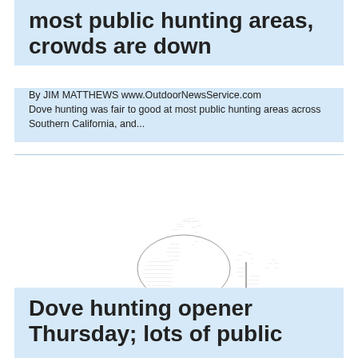most public hunting areas, crowds are down
By JIM MATTHEWS www.OutdoorNewsService.com Dove hunting was fair to good at most public hunting areas across Southern California, and...
[Figure (illustration): Pen-and-ink illustration of two bighorn sheep / rams made from text/typography. Label 'Pecking Away' and 'Jim Matthews Blog & Commentary' in lower right.]
Dove hunting opener Thursday; lots of public